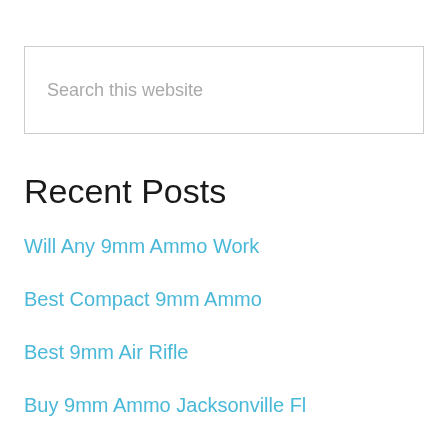Search this website
Recent Posts
Will Any 9mm Ammo Work
Best Compact 9mm Ammo
Best 9mm Air Rifle
Buy 9mm Ammo Jacksonville Fl
How Long Will Bullets Stay Good